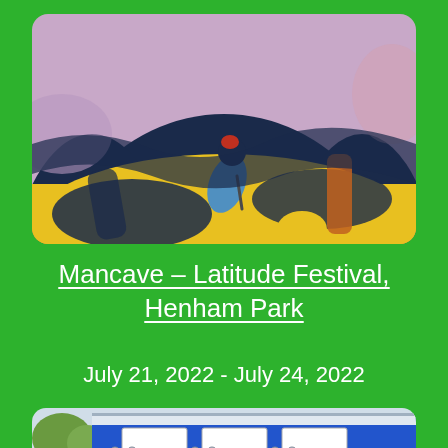[Figure (illustration): Abstract painting showing a figure bending down, with strong brushstrokes in yellow, dark navy/black, pink, and blue colors. A small red element near the top center, with blue and orange accents.]
Mancave – Latitude Festival, Henham Park
July 21, 2022 - July 24, 2022
[Figure (photo): Partial view of a blue building with white window frames and circular metallic bolts, against a sky background with trees visible at left.]